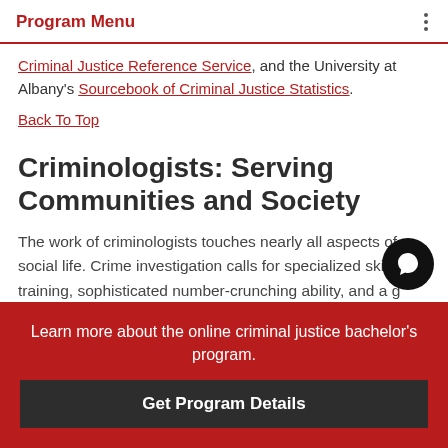Program Menu
Criminal Justice Reference Service, and the University at Albany's Sourcebook of Criminal Justice Statistics.
Back To Top
Criminologists: Serving Communities and Society
The work of criminologists touches nearly all aspects of social life. Crime investigation calls for specialized skills and training, sophisticated number-crunching ability, and a g...
Learn more about the online criminal justice bachelor's program.
Get Program Details